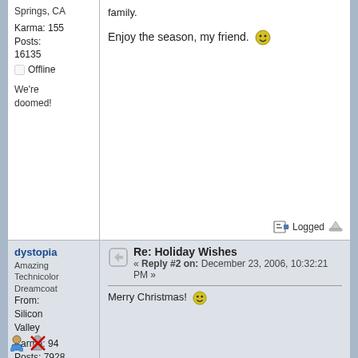Springs, CA
Karma: 155
Posts: 16135
Offline
Enjoy the season, my friend. 😊
We're doomed!
Logged
dystopia
Amazing Technicolor Dreamcoat
From: Silicon Valley
Karma: 94
Posts: 7928
Offline
Re: Holiday Wishes
« Reply #2 on: December 23, 2006, 10:32:21 PM »
Merry Christmas! 😊
Logged
stroh
Re: Holiday Wishes